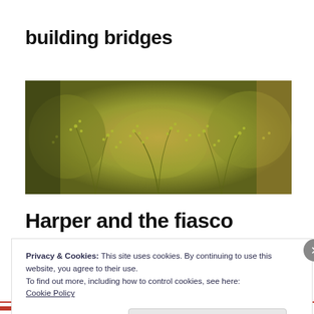building bridges
[Figure (photo): Close-up photograph of green feathery plant foliage (possibly dill or fennel) against a blurred warm-toned background.]
Harper and the fiasco
Privacy & Cookies: This site uses cookies. By continuing to use this website, you agree to their use.
To find out more, including how to control cookies, see here:
Cookie Policy
Close and accept